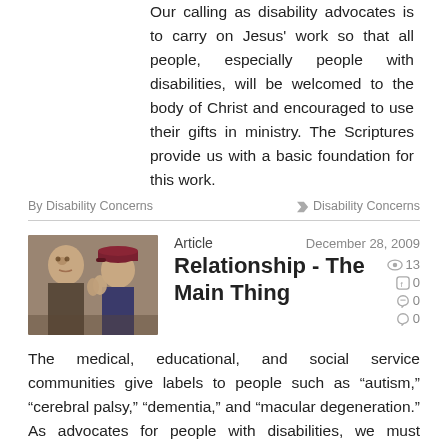Our calling as disability advocates is to carry on Jesus' work so that all people, especially people with disabilities, will be welcomed to the body of Christ and encouraged to use their gifts in ministry. The Scriptures provide us with a basic foundation for this work.
By Disability Concerns   Disability Concerns
Relationship - The Main Thing
Article   December 28, 2009
[Figure (photo): Two people facing each other closely, one older man and one younger person wearing a dark red cap, appearing to be in conversation.]
The medical, educational, and social service communities give labels to people such as “autism,” “cerebral palsy,” “dementia,” and “macular degeneration.” As advocates for people with disabilities, we must encourage people in our churches to focus on people and relationships and not be overly concerned with labels.
By Disability Concerns   Disability Concerns